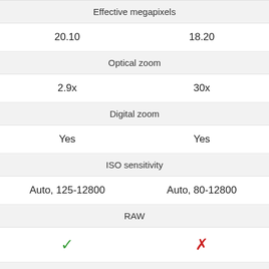|  |  |
| --- | --- |
| Effective megapixels |  |
| 20.10 | 18.20 |
| Optical zoom |  |
| 2.9x | 30x |
| Digital zoom |  |
| Yes | Yes |
| ISO sensitivity |  |
| Auto, 125-12800 | Auto, 80-12800 |
| RAW |  |
| ✓ | ✗ |
| Manual focus |  |
| ✓ | ✓ |